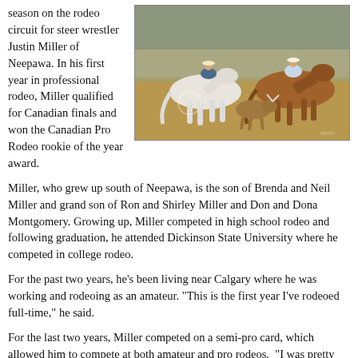season on the rodeo circuit for steer wrestler Justin Miller of Neepawa. In his first year in professional rodeo, Miller qualified for Canadian finals and won the Canadian Pro Rodeo rookie of the year award.
[Figure (photo): Action photo of steer wrestling at a rodeo. A cowboy on horseback chases a steer while another rider is visible on the right side. Dirt arena with spectators in the background.]
Miller, who grew up south of Neepawa, is the son of Brenda and Neil Miller and grand son of Ron and Shirley Miller and Don and Dona Montgomery. Growing up, Miller competed in high school rodeo and following graduation, he attended Dickinson State University where he competed in college rodeo.
For the past two years, he's been living near Calgary where he was working and rodeoing as an amateur. "This is the first year I've rodeoed full-time," he said.
For the last two years, Miller competed on a semi-pro card, which allowed him to compete at both amateur and pro rodeos.  "I was pretty content to go and amateur rodeo," he said.  But some persistence from his friends convinced him it was time to turn pro.